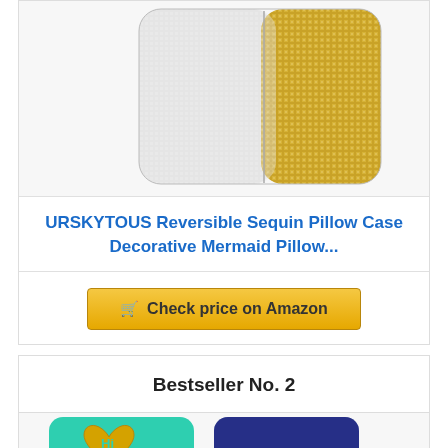[Figure (photo): White and gold reversible sequin pillow case product photo on white background]
URSKYTOUS Reversible Sequin Pillow Case Decorative Mermaid Pillow...
Check price on Amazon
Bestseller No. 2
[Figure (photo): Two reversible sequin pillows side by side - teal/gold with heart pattern and blue/purple with SEA text]